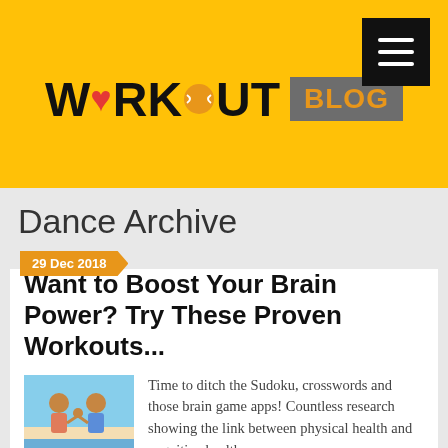[Figure (logo): Workout Blog logo on yellow banner background with hamburger menu icon]
Dance Archive
29 Dec 2018
Want to Boost Your Brain Power? Try These Proven Workouts...
[Figure (photo): Two people exercising together outdoors, holding hands/high-fiving]
Time to ditch the Sudoku, crosswords and those brain game apps! Countless research showing the link between physical health and cognitive health...